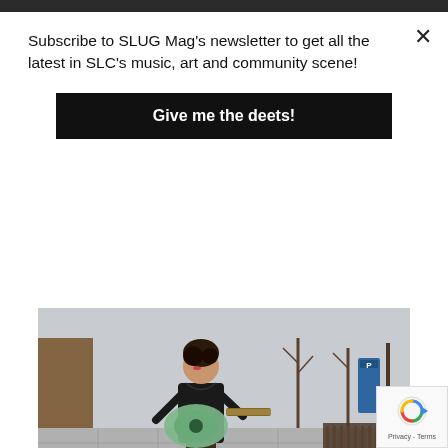Subscribe to SLUG Mag's newsletter to get all the latest in SLC's music, art and community scene!
Give me the deets!
[Figure (photo): Woman walking on a city sidewalk playing an acoustic guitar, wearing black top and patterned wide-leg pants, with urban street background including parking meters and a bench]
Photo: John Barkiple
VIRTUALIZED: VALERIE